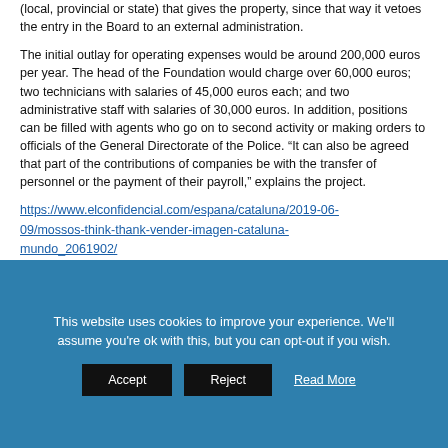(local, provincial or state) that gives the property, since that way it vetoes the entry in the Board to an external administration.
The initial outlay for operating expenses would be around 200,000 euros per year. The head of the Foundation would charge over 60,000 euros; two technicians with salaries of 45,000 euros each; and two administrative staff with salaries of 30,000 euros. In addition, positions can be filled with agents who go on to second activity or making orders to officials of the General Directorate of the Police. “It can also be agreed that part of the contributions of companies be with the transfer of personnel or the payment of their payroll,” explains the project.
https://www.elconfidencial.com/espana/cataluna/2019-06-09/mossos-think-thank-vender-imagen-cataluna-mundo_2061902/
This website uses cookies to improve your experience. We'll assume you're ok with this, but you can opt-out if you wish.